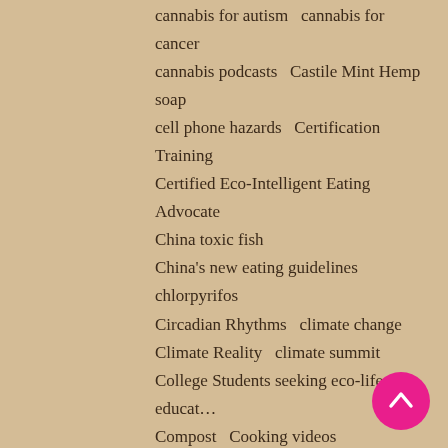cannabis for autism   cannabis for cancer
cannabis podcasts   Castile Mint Hemp soap
cell phone hazards   Certification Training
Certified Eco-Intelligent Eating Advocate
China toxic fish
China's new eating guidelines   chlorpyrifos
Circadian Rhythms   climate change
Climate Reality   climate summit
College Students seeking eco-lifestyle educat…
Compost   Cooking videos
corona virus treatment   Cow mastitis
Cultural Creative   curb global heat
Dan Andrews Farm
demand for non-dairy milks   Depression
Detoxing Fireworks   Dr. Stephanie Sen…
dulse for detox   Eco Intelligent Eating